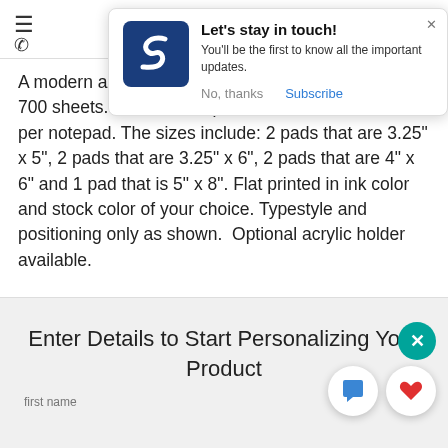[Figure (screenshot): Website header with hamburger menu icon and phone icon on left side]
[Figure (infographic): Popup notification with blue square logo containing white S letter, title 'Let's stay in touch!', body text 'You'll be the first to know all the important updates.', and two action buttons: 'No, thanks' and 'Subscribe' in blue]
A modern and trendy set of notepads with a total of 700 sheets. Set of 7 notepads each with 100 sheets per notepad. The sizes include: 2 pads that are 3.25" x 5", 2 pads that are 3.25" x 6", 2 pads that are 4" x 6" and 1 pad that is 5" x 8". Flat printed in ink color and stock color of your choice. Typestyle and positioning only as shown.  Optional acrylic holder available.
Enter Details to Start Personalizing Your Product
first name